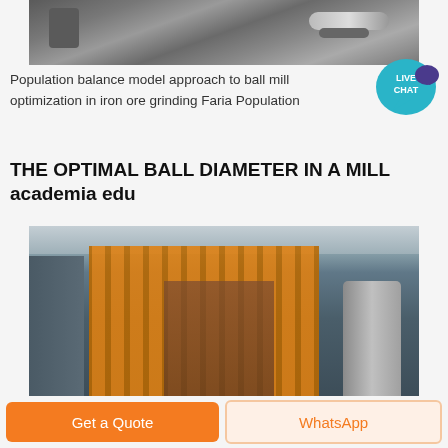[Figure (photo): Close-up photo of industrial ball mill machinery, showing metal pipes, bolts and mechanical components]
Population balance model approach to ball mill optimization in iron ore grinding Faria Population
THE OPTIMAL BALL DIAMETER IN A MILL academia edu
[Figure (photo): Interior of an industrial mill facility showing large yellow metal structures, staircases, scaffolding, and a cylindrical silo, with a high ceiling and grey industrial architecture]
Get a Quote
WhatsApp